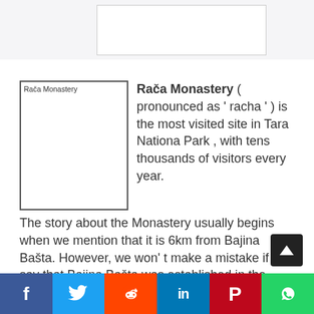[Figure (other): Placeholder image box at top of page]
[Figure (photo): Rača Monastery image placeholder with label text 'Rača Monastery']
Rača Monastery ( pronounced as ' racha ' ) is the most visited site in Tara Nationa Park , with tens thousands of visitors every year.
The story about the Monastery usually begins when we mention that it is 6km from Bajina Bašta. However, we won' t make a mistake if we say that Bajina Bašta was established in the vicinity of this mediaeval temple itself.
[Figure (other): Social sharing buttons: Facebook, Twitter, Reddit, LinkedIn, Pinterest, WhatsApp]